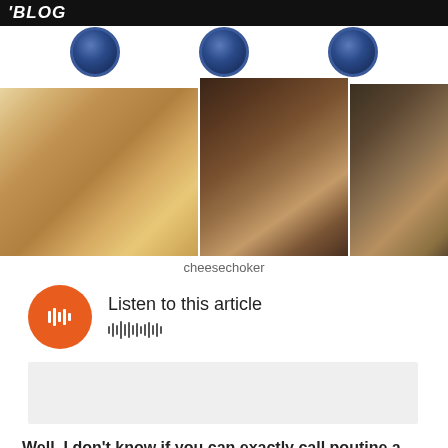'BLOG
[Figure (photo): Three circular clock/icon images in a row on white background]
[Figure (photo): Three food images showing poutine dishes: left is poutine with fries and toppings on white plate, center is chopped food on white plate, right is poutine on dark plate]
cheesechoker
[Figure (other): Audio player widget with orange circular play button and waveform, labeled 'Listen to this article']
[Figure (other): Light gray advertisement or content placeholder box]
Well, I don't know if you can exactly call poutine a delicacy, however I would say it is definitely important to the people of Montreal. Before I entered